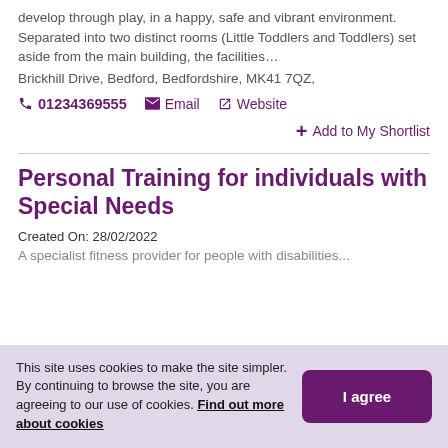develop through play, in a happy, safe and vibrant environment. Separated into two distinct rooms (Little Toddlers and Toddlers) set aside from the main building, the facilities…
Brickhill Drive, Bedford, Bedfordshire, MK41 7QZ,
📞 01234369555   ✉ Email   🔗 Website
+ Add to My Shortlist
Personal Training for individuals with Special Needs
Created On: 28/02/2022
This site uses cookies to make the site simpler. By continuing to browse the site, you are agreeing to our use of cookies. Find out more about cookies